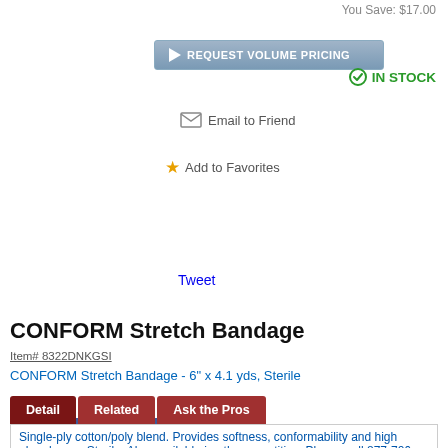You Save: $17.00
[Figure (screenshot): REQUEST VOLUME PRICING button with play icon, blue-gray gradient]
IN STOCK
Email to Friend
Add to Favorites
[Figure (screenshot): Facebook Like button showing 136 likes]
Tweet
CONFORM Stretch Bandage
Item# 8322DNKGSI
CONFORM Stretch Bandage - 6" x 4.1 yds, Sterile
Detail | Related | Ask the Pros
Single-ply cotton/poly blend. Provides softness, conformability and high absorbency. Sterile. Also available in other quantities. Please call 877-706-